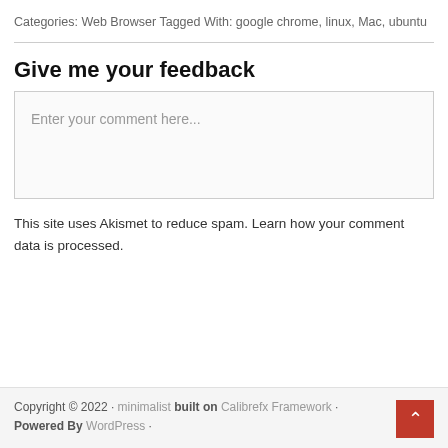Categories: Web Browser Tagged With: google chrome, linux, Mac, ubuntu
Give me your feedback
Enter your comment here...
This site uses Akismet to reduce spam. Learn how your comment data is processed.
Copyright © 2022 · minimalist built on Calibrefx Framework · Powered By WordPress ·